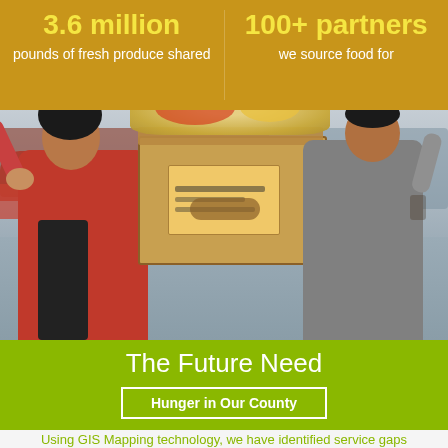3.6 million
pounds of fresh produce shared
100+ partners
we source food for
[Figure (photo): A woman in a red sweater and a man in a grey shirt carry a large cardboard box of food together in a parking lot setting. The woman is smiling and appears to be lifting the box overhead.]
The Future Need
Hunger in Our County
Using GIS Mapping technology, we have identified service gaps